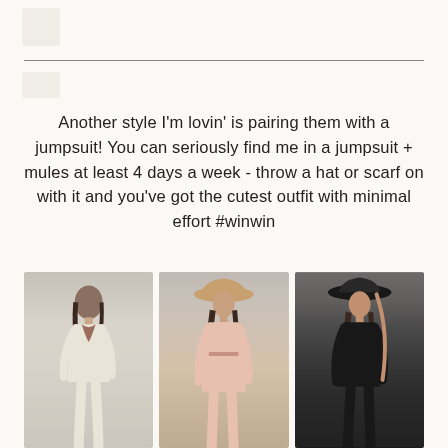[Figure (photo): Top placeholder image area with small beige box and horizontal divider line]
Another style I'm lovin' is pairing them with a jumpsuit! You can seriously find me in a jumpsuit + mules at least 4 days a week - throw a hat or scarf on with it and you've got the cutest outfit with minimal effort #winwin
[Figure (photo): Three fashion photos side by side showing women in jumpsuits: left in cream/beige jumpsuit with scarf, center in pink jumpsuit with wide-brim hat, right in black jumpsuit with black wide-brim hat]